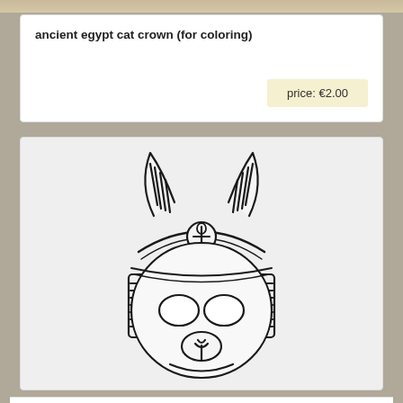ancient egypt cat crown (for coloring)
price: €2.00
[Figure (illustration): Ancient Egypt cat crown coloring page illustration showing a stylized cat skull mask with Egyptian headdress featuring striped horns/ears, an ankh symbol on the forehead band, decorative side panels with stripes, and skull-like cat face with eye holes and small nose — all in black outline on white/light gray background, designed as a printable coloring page.]